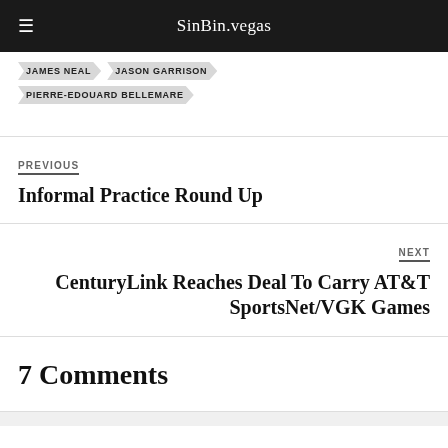SinBin.vegas
JAMES NEAL
JASON GARRISON
PIERRE-EDOUARD BELLEMARE
PREVIOUS
Informal Practice Round Up
NEXT
CenturyLink Reaches Deal To Carry AT&T SportsNet/VGK Games
7 Comments